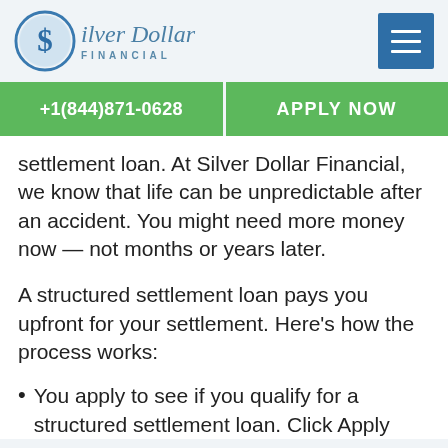[Figure (logo): Silver Dollar Financial logo with coin icon and text]
[Figure (other): Blue hamburger menu button]
+1(844)871-0628
APPLY NOW
settlement loan. At Silver Dollar Financial, we know that life can be unpredictable after an accident. You might need more money now — not months or years later.
A structured settlement loan pays you upfront for your settlement. Here's how the process works:
You apply to see if you qualify for a structured settlement loan. Click Apply